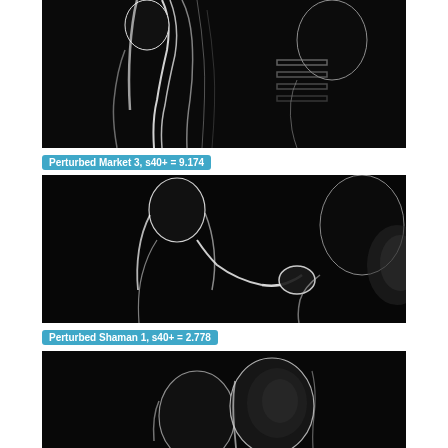[Figure (photo): Dark grayscale image showing silhouettes of people with bright edge highlights, labeled as Perturbed Market 3]
Perturbed Market 3, s40+ = 9.174
[Figure (photo): Dark grayscale image showing silhouettes of two people reaching toward each other with bright edge highlights, labeled as Perturbed Shaman 1]
Perturbed Shaman 1, s40+ = 2.778
[Figure (photo): Dark grayscale image showing silhouettes of two people close together with bright edge highlights, partially visible at bottom]